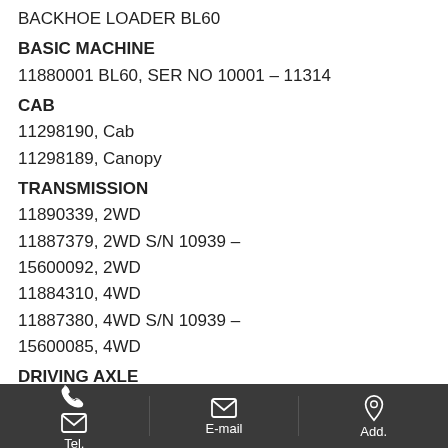BACKHOE LOADER BL60
BASIC MACHINE
11880001 BL60, SER NO 10001 – 11314
CAB
11298190, Cab
11298189, Canopy
TRANSMISSION
11890339, 2WD
11887379, 2WD S/N 10939 –
15600092, 2WD
11884310, 4WD
11887380, 4WD S/N 10939 –
15600085, 4WD
DRIVING AXLE
11884373, Front 2WD
Tel. | E-mail | Add.